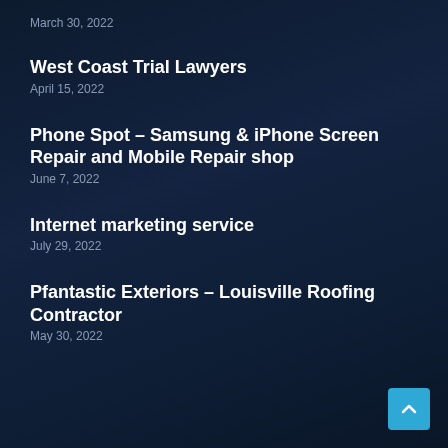March 30, 2022
West Coast Trial Lawyers
April 15, 2022
Phone Spot – Samsung & iPhone Screen Repair and Mobile Repair shop
June 7, 2022
Internet marketing service
July 29, 2022
Pfantastic Exteriors – Louisville Roofing Contractor
May 30, 2022